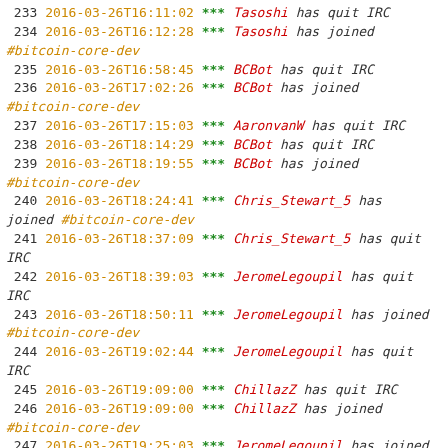233 2016-03-26T16:11:02 *** Tasoshi has quit IRC
234 2016-03-26T16:12:28 *** Tasoshi has joined #bitcoin-core-dev
235 2016-03-26T16:58:45 *** BCBot has quit IRC
236 2016-03-26T17:02:26 *** BCBot has joined #bitcoin-core-dev
237 2016-03-26T17:15:03 *** AaronvanW has quit IRC
238 2016-03-26T18:14:29 *** BCBot has quit IRC
239 2016-03-26T18:19:55 *** BCBot has joined #bitcoin-core-dev
240 2016-03-26T18:24:41 *** Chris_Stewart_5 has joined #bitcoin-core-dev
241 2016-03-26T18:37:09 *** Chris_Stewart_5 has quit IRC
242 2016-03-26T18:39:03 *** JeromeLegoupil has quit IRC
243 2016-03-26T18:50:11 *** JeromeLegoupil has joined #bitcoin-core-dev
244 2016-03-26T19:02:44 *** JeromeLegoupil has quit IRC
245 2016-03-26T19:09:00 *** ChillazZ has quit IRC
246 2016-03-26T19:09:00 *** ChillazZ has joined #bitcoin-core-dev
247 2016-03-26T19:25:03 *** JeromeLegoupil has joined #bitcoin-core-dev
248 2016-03-26T19:33:49 *** Chris_Stewart_5 has joined #bitcoin-core-dev
249 2016-03-26T19:33:52 *** d_t has joined #bitcoin-